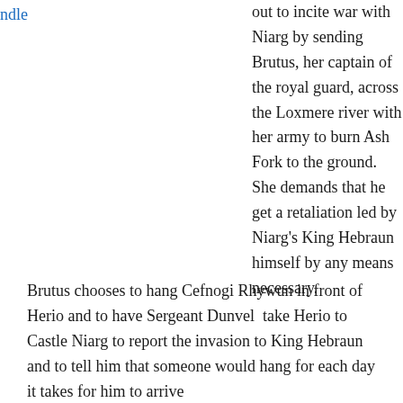ndle
out to incite war with Niarg by sending Brutus, her captain of the royal guard, across the Loxmere river with her army to burn Ash Fork to the ground. She demands that he get a retaliation led by Niarg's King Hebraun himself by any means necessary.
Brutus chooses to hang Cefnogi Rhywun in front of Herio and to have Sergeant Dunvel  take Herio to Castle Niarg to report the invasion to King Hebraun and to tell him that someone would hang for each day it takes for him to arrive